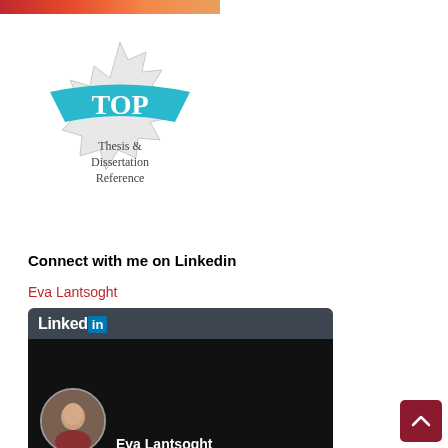[Figure (illustration): Red/orange gradient banner strip at top of page]
[Figure (illustration): Badge/seal graphic with teal ribbon banner saying TOP and starburst medallion below reading Thesis & Dissertation Reference]
Connect with me on Linkedin
Eva Lantsoght
[Figure (screenshot): LinkedIn profile card showing Eva Lantsoght with LinkedIn logo header, profile photo in circular frame, and name text on dark background]
[Figure (illustration): Dark red scroll-to-top button with upward arrow in bottom right corner]